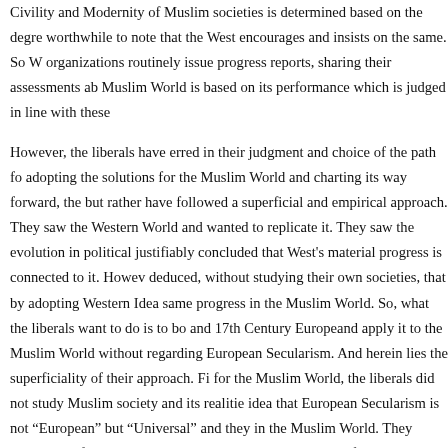Civility and Modernity of Muslim societies is determined based on the degree... worthwhile to note that the West encourages and insists on the same. So W... organizations routinely issue progress reports, sharing their assessments ab... Muslim World is based on its performance which is judged in line with these...
However, the liberals have erred in their judgment and choice of the path fo... adopting the solutions for the Muslim World and charting its way forward, the... but rather have followed a superficial and empirical approach. They saw the... Western World and wanted to replicate it. They saw the evolution in political... justifiably concluded that West's material progress is connected to it. Howev... deduced, without studying their own societies, that by adopting Western Idea... same progress in the Muslim World. So, what the liberals want to do is to bo... and 17th Century Europeand apply it to the Muslim World without regarding... European Secularism. And herein lies the superficiality of their approach. Fi... for the Muslim World, the liberals did not study Muslim society and its realitie... idea that European Secularism is not "European" but "Universal" and they in... the Muslim World. They ignored the fact that European secularism is a reac... result of the repressive Christian rule which governed much of Europethroug... now called). It was when the European population's frustration and anger at... political conditions exploded into a fierce struggle with the incumbent politica... Church, that secularism emerged as "the new" thinking. The idea was to de...